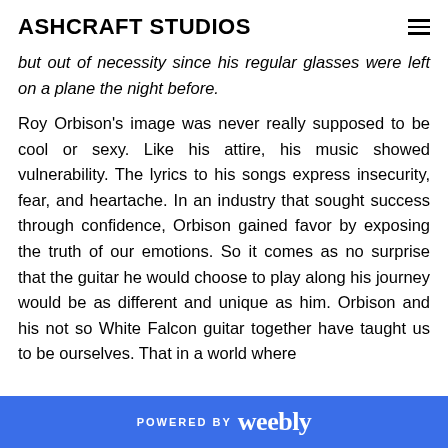ASHCRAFT STUDIOS
but out of necessity since his regular glasses were left on a plane the night before.
Roy Orbison’s image was never really supposed to be cool or sexy. Like his attire, his music showed vulnerability. The lyrics to his songs express insecurity, fear, and heartache. In an industry that sought success through confidence, Orbison gained favor by exposing the truth of our emotions. So it comes as no surprise that the guitar he would choose to play along his journey would be as different and unique as him. Orbison and his not so White Falcon guitar together have taught us to be ourselves. That in a world where
POWERED BY weebly